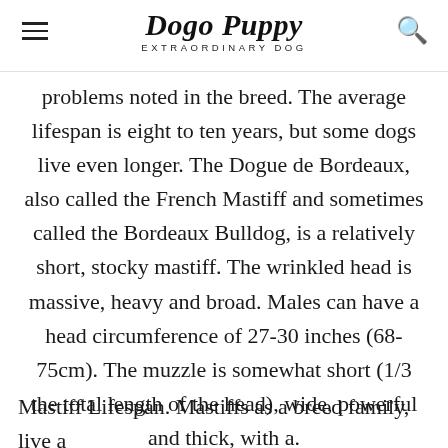Dogo Puppy — EXTRAORDINARY DOG
problems noted in the breed. The average lifespan is eight to ten years, but some dogs live even longer. The Dogue de Bordeaux, also called the French Mastiff and sometimes called the Bordeaux Bulldog, is a relatively short, stocky mastiff. The wrinkled head is massive, heavy and broad. Males can have a head circumference of 27-30 inches (68-75cm). The muzzle is somewhat short (1/3 the total length of the head), wide, powerful and thick, with a.
Mastiff Lifespan. Mastiffs as a breed family, live a